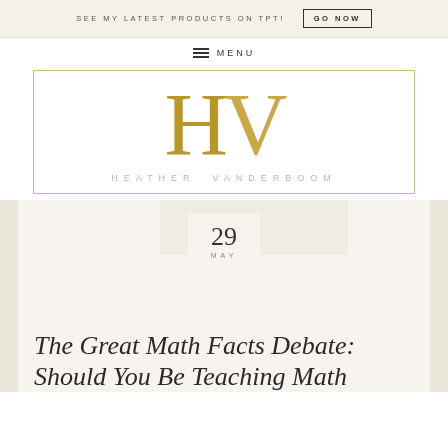SEE MY LATEST PRODUCTS ON TPT!   GO NOW
≡  MENU
[Figure (logo): HV Heather Vanderboom logo with large gold HV initials and name in light blue-gray spaced letters, framed by a thin gold border]
29
MAY
The Great Math Facts Debate: Should You Be Teaching Math